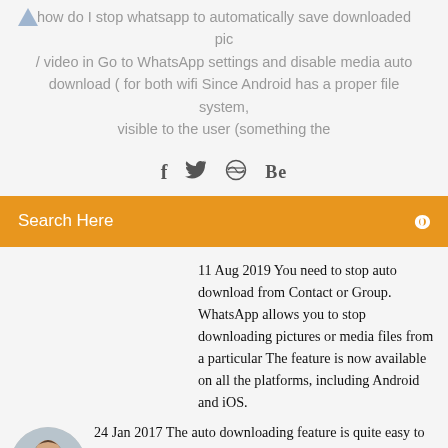how do I stop whatsapp to automatically save downloaded pic / video in Go to WhatsApp settings and disable media auto download ( for both wifi Since Android has a proper file system, visible to the user (something the
[Figure (illustration): Social share icons: Facebook (f), Twitter (bird), a circular icon, and Behance (Be)]
Search Here
11 Aug 2019 You need to stop auto download from Contact or Group. WhatsApp allows you to stop downloading pictures or media files from a particular The feature is now available on all the platforms, including Android and iOS.
[Figure (photo): Circular avatar photo of a man]
24 Jan 2017 The auto downloading feature is quite easy to disable in WhatsApp. In Chat settings, tap on Media Auto Download (or) Save Incoming Media. Android. To disable auto downloading photos and videos etc, for WhatsApp in